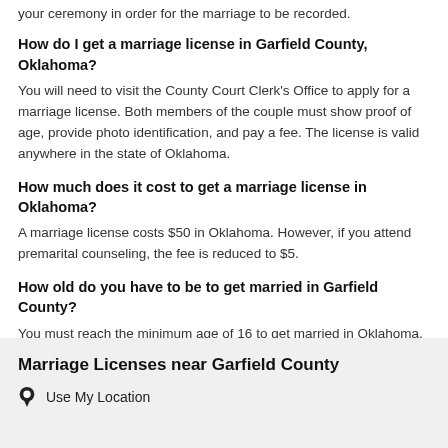your ceremony in order for the marriage to be recorded.
How do I get a marriage license in Garfield County, Oklahoma?
You will need to visit the County Court Clerk's Office to apply for a marriage license. Both members of the couple must show proof of age, provide photo identification, and pay a fee. The license is valid anywhere in the state of Oklahoma.
How much does it cost to get a marriage license in Oklahoma?
A marriage license costs $50 in Oklahoma. However, if you attend premarital counseling, the fee is reduced to $5.
How old do you have to be to get married in Garfield County?
You must reach the minimum age of 16 to get married in Oklahoma. Individuals who are under the age of 18 must have parental consent to get married.
Marriage Licenses near Garfield County
Use My Location